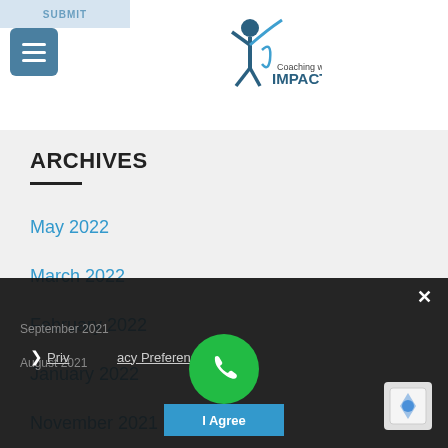[Figure (logo): Coaching with IMPACT logo — stylized human figure with raised arm above text]
ARCHIVES
May 2022
March 2022
February 2022
January 2022
November 2021
October 2021
September 2021
August 2021
Privacy Preferences
I Agree